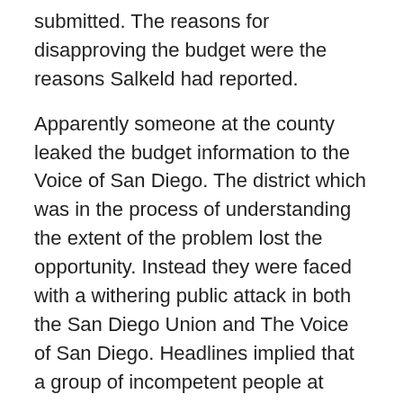submitted. The reasons for disapproving the budget were the reasons Salkeld had reported.
Apparently someone at the county leaked the budget information to the Voice of San Diego. The district which was in the process of understanding the extent of the problem lost the opportunity. Instead they were faced with a withering public attack in both the San Diego Union and The Voice of San Diego. Headlines implied that a group of incompetent people at SUHSD were incapable of managing their affairs honestly.
Enter FCMAT. SUHSD was forced to pay them $50,000 to have finances reviewed. A preliminary report was delivered that December at a SUHSD district school board meeting. Voice of San Diego's Will Huntsberry shared,